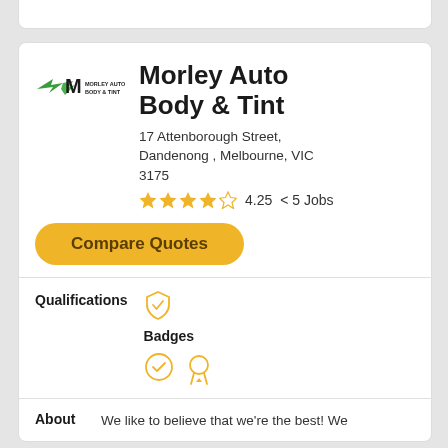[Figure (logo): Morley Auto Body & Tint logo — green winged M with company name text]
Morley Auto Body & Tint
17 Attenborough Street, Dandenong , Melbourne, VIC 3175
4.25  < 5 Jobs
Compare Quotes
Qualifications
Badges
About
We like to believe that we're the best! We